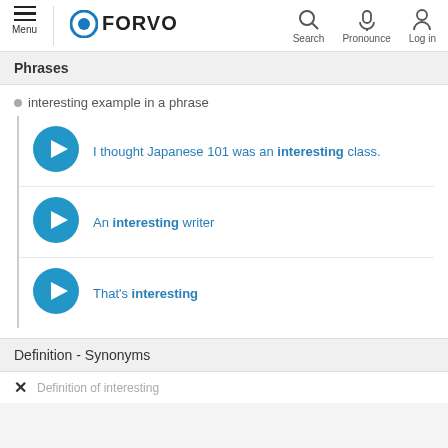Menu | O FORVO | Search | Pronounce | Log in
Phrases
interesting example in a phrase
I thought Japanese 101 was an interesting class.
An interesting writer
That's interesting
Definition - Synonyms
× [partially visible text]